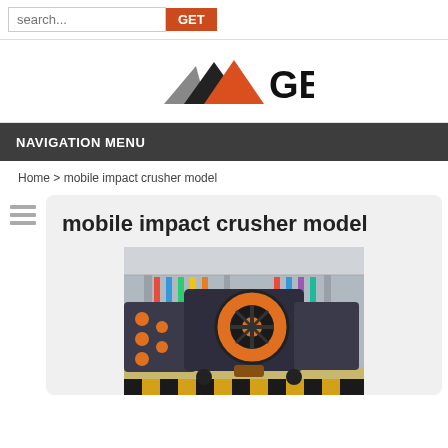search... GET
[Figure (logo): GBM logo with mountain/triangle graphic in orange and dark gray, with bold black text 'GBM']
NAVIGATION MENU
Home > mobile impact crusher model
mobile impact crusher model
[Figure (photo): Industrial mobile impact crusher machine in a factory/exhibition hall setting, large dark gray machine with orange circular element, colorful flags in background]